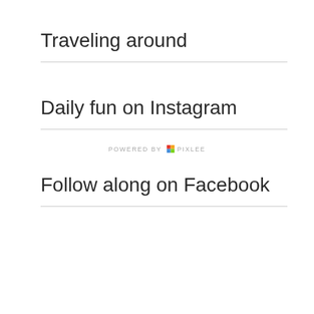Traveling around
Daily fun on Instagram
POWERED BY PIXLEE
Follow along on Facebook